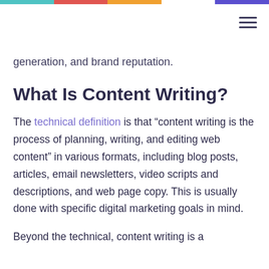[colored top bar with navigation]
generation, and brand reputation.
What Is Content Writing?
The technical definition is that “content writing is the process of planning, writing, and editing web content” in various formats, including blog posts, articles, email newsletters, video scripts and descriptions, and web page copy. This is usually done with specific digital marketing goals in mind.
Beyond the technical, content writing is a